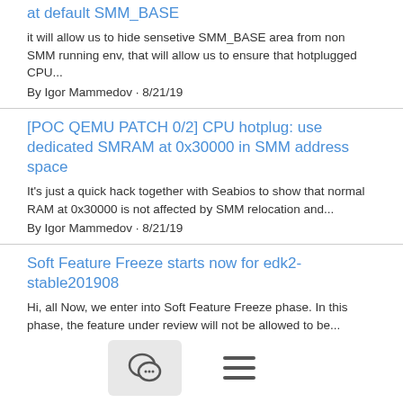at default SMM_BASE
it will allow us to hide sensetive SMM_BASE area from non SMM running env, that will allow us to ensure that hotplugged CPU...
By Igor Mammedov · 8/21/19
[POC QEMU PATCH 0/2] CPU hotplug: use dedicated SMRAM at 0x30000 in SMM address space
It's just a quick hack together with Seabios to show that normal RAM at 0x30000 is not affected by SMM relocation and...
By Igor Mammedov · 8/21/19
Soft Feature Freeze starts now for edk2-stable201908
Hi, all Now, we enter into Soft Feature Freeze phase. In this phase, the feature under review will not be allowed to be...
By Liming Gao · 8/16/19
[edk2-devel] [RFC] BZ 1837 Enable Windows